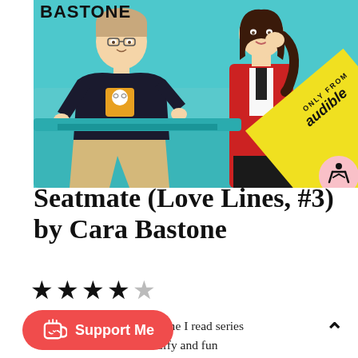[Figure (illustration): Book cover illustration for 'Seatmate (Love Lines, #3)' by Cara Bastone. Shows a cartoon/illustrated style image of a man in a black long-sleeve shirt with a graphic tee design over it, wearing khaki pants, reclining on a transit seat. A woman in a red blazer with white blouse and black pants stands/sits next to him laughing. Teal/cyan background suggesting transit interior. Yellow diagonal banner in bottom-right corner reads 'ONLY FROM audible'. Accessibility icon (person in circle) in lower-right corner.]
Seatmate (Love Lines, #3) by Cara Bastone
★★★★☆
First audiobook and first time I read series ...atmate is fluffy and fun ...volves around Gwen and her handsome seatmate, Sam, traveling